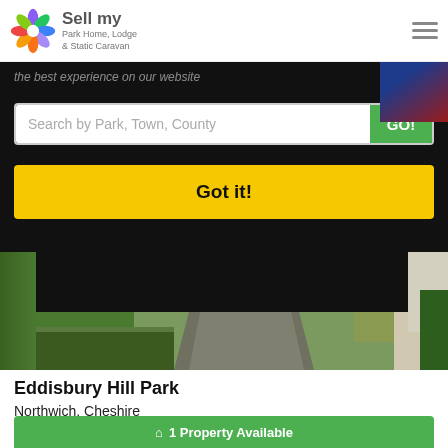Sell my Park Home, Lodge & Static Caravan
the best experience on our website
Search by Park, Town, County  GO!
Got it!
[Figure (photo): Street view of a park home driveway with bins on both sides and garden areas]
Eddisbury Hill Park
Northwich, Cheshire
North West England
Residential Park
1 Property Available